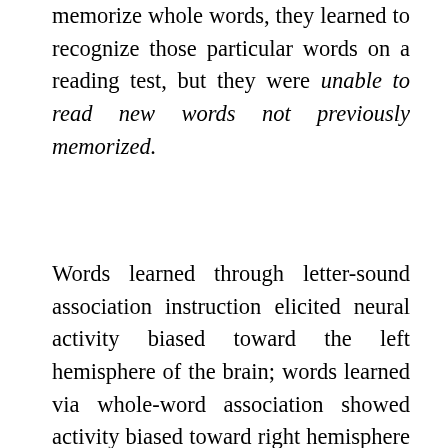memorize whole words, they learned to recognize those particular words on a reading test, but they were unable to read new words not previously memorized.
Words learned through letter-sound association instruction elicited neural activity biased toward the left hemisphere of the brain; words learned via whole-word association showed activity biased toward right hemisphere processing. The study's co-author Bruce McCandliss noted that this strong left hemisphere engagement during early word recognition is a hallmark of skilled